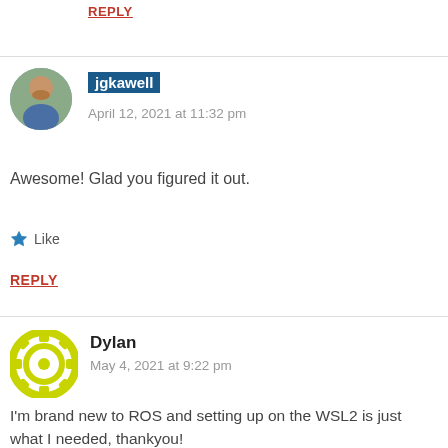REPLY
jgkawell
April 12, 2021 at 11:32 pm
Awesome! Glad you figured it out.
Like
REPLY
Dylan
May 4, 2021 at 9:22 pm
I'm brand new to ROS and setting up on the WSL2 is just what I needed, thankyou!